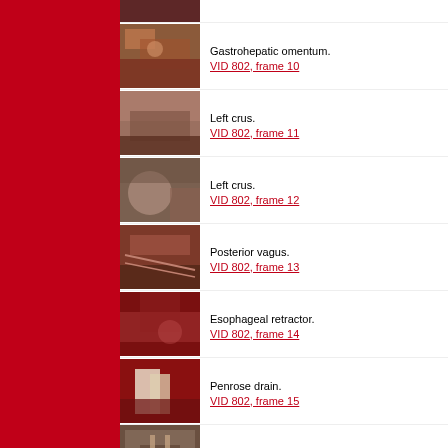[Figure (photo): Surgical video frame - partial view at top]
[Figure (photo): Gastrohepatic omentum surgical frame]
Gastrohepatic omentum.
VID 802, frame 10
[Figure (photo): Left crus surgical frame 11]
Left crus.
VID 802, frame 11
[Figure (photo): Left crus surgical frame 12]
Left crus.
VID 802, frame 12
[Figure (photo): Posterior vagus surgical frame 13]
Posterior vagus.
VID 802, frame 13
[Figure (photo): Esophageal retractor surgical frame 14]
Esophageal retractor.
VID 802, frame 14
[Figure (photo): Penrose drain surgical frame 15]
Penrose drain.
VID 802, frame 15
[Figure (photo): Clips surgical frame - partial at bottom]
Clips.